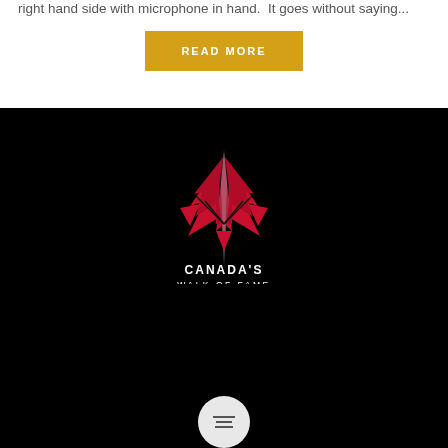right hand side with microphone in hand.  It goes without saying...
READ MORE
[Figure (logo): Canada's Walk of Fame logo — a stylized red maple leaf with a vertical line in the centre on a black background, with text 'CANADA'S WALK OF FAME' below]